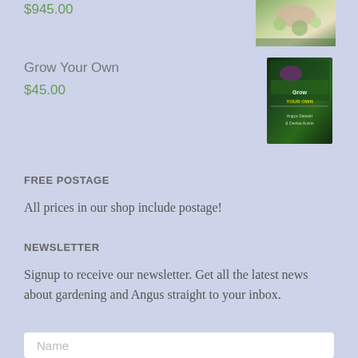$945.00
[Figure (photo): Product image showing plants/flowers in a garden setting]
Grow Your Own
$45.00
[Figure (photo): Book cover for 'Grow Your Own' showing vegetables and green plants]
FREE POSTAGE
All prices in our shop include postage!
NEWSLETTER
Signup to receive our newsletter. Get all the latest news about gardening and Angus straight to your inbox.
Name